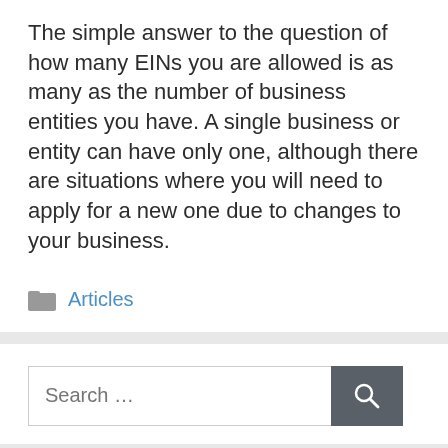The simple answer to the question of how many EINs you are allowed is as many as the number of business entities you have. A single business or entity can have only one, although there are situations where you will need to apply for a new one due to changes to your business.
Articles
[Figure (other): Search bar with text input field and dark gray search button with magnifying glass icon]
From me